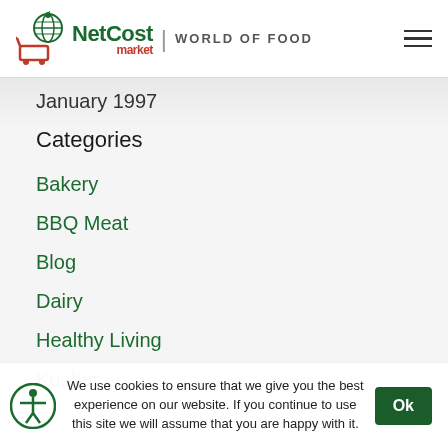[Figure (logo): NetCost Market logo with globe and shopping cart icon, text 'NetCost market | WORLD OF FOOD']
January 1997
Categories
Bakery
BBQ Meat
Blog
Dairy
Healthy Living
Kosher
We use cookies to ensure that we give you the best experience on our website. If you continue to use this site we will assume that you are happy with it.